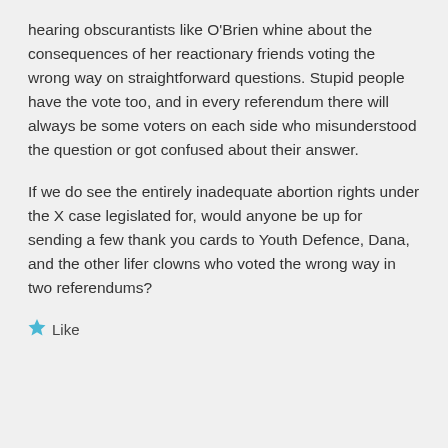hearing obscurantists like O'Brien whine about the consequences of her reactionary friends voting the wrong way on straightforward questions. Stupid people have the vote too, and in every referendum there will always be some voters on each side who misunderstood the question or got confused about their answer.
If we do see the entirely inadequate abortion rights under the X case legislated for, would anyone be up for sending a few thank you cards to Youth Defence, Dana, and the other lifer clowns who voted the wrong way in two referendums?
Like